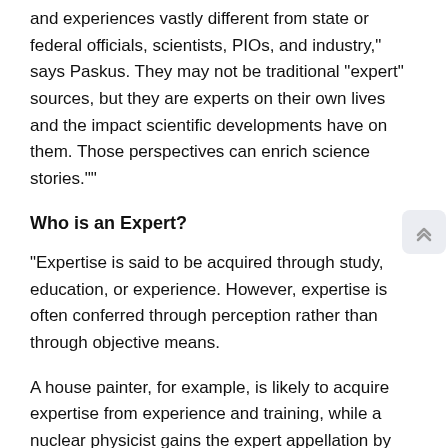and experiences vastly different from state or federal officials, scientists, PIOs, and industry," says Paskus. They may not be traditional “expert” sources, but they are experts on their own lives and the impact scientific developments have on them. Those perspectives can enrich science stories.""
Who is an Expert?
“Expertise is said to be acquired through study, education, or experience. However, expertise is often conferred through perception rather than through objective means.
A house painter, for example, is likely to acquire expertise from experience and training, while a nuclear physicist gains the expert appellation by virtue of advanced degrees.
We are looking for someone who can make a decision or give a qualified opinion about how to act relative to some set of circumstances or data. We are looking for someone who knows the facts-someone who has knowledge that we don’t. In the